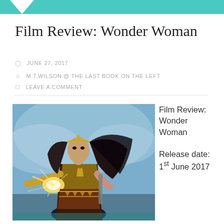Film Review: Wonder Woman
JUNE 27, 2017
M.T.WILSON @ THE LAST BOOK ON THE LEFT
LEAVE A COMMENT
[Figure (photo): Wonder Woman movie poster showing the character in action pose with bracelets crossed, golden armor, dark hair flowing, glowing light at wrists, dramatic sky background]
Film Review: Wonder Woman

Release date: 1st June 2017